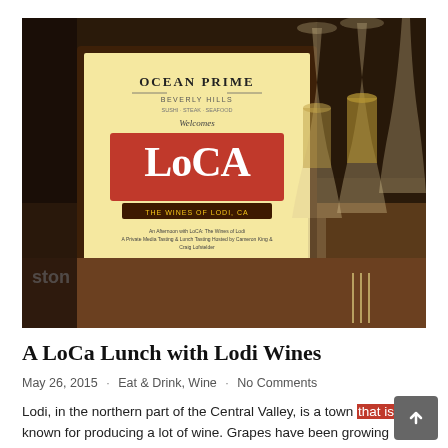[Figure (photo): Restaurant table setting with wine glasses filled with white wine and a framed sign for Ocean Prime Beverly Hills welcoming LoCa (The Wines of Lodi, CA), listing several wines for tasting.]
A LoCa Lunch with Lodi Wines
May 26, 2015  ·  Eat & Drink, Wine  ·  No Comments
Lodi, in the northern part of the Central Valley, is a town that is known for producing a lot of wine. Grapes have been growing